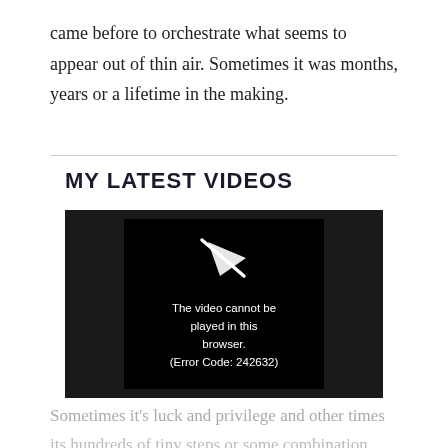came before to orchestrate what seems to appear out of thin air. Sometimes it was months, years or a lifetime in the making.
MY LATEST VIDEOS
[Figure (screenshot): Video player showing error: 'The video cannot be played in this browser. (Error Code: 242632)' with a play icon crossed out above the text, on a black background within a dark gray video container.]
Sometimes it's luck and privilege and other times its hundreds of tiny steps or some combination